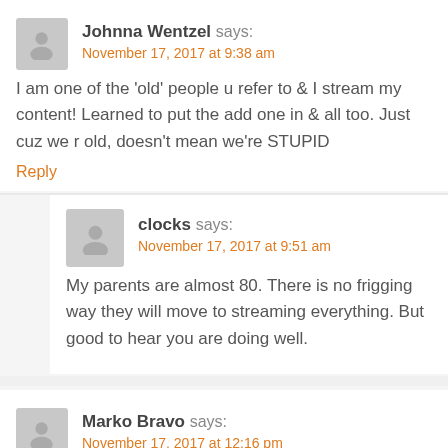Johnna Wentzel says:
November 17, 2017 at 9:38 am
I am one of the 'old' people u refer to & I stream my content! Learned to put the add one in & all too. Just cuz we r old, doesn't mean we're STUPID
Reply
clocks says:
November 17, 2017 at 9:51 am
My parents are almost 80. There is no frigging way they will move to streaming everything. But good to hear you are doing well.
Marko Bravo says:
November 17, 2017 at 12:16 pm
My grandparents stream from a fire stick and they